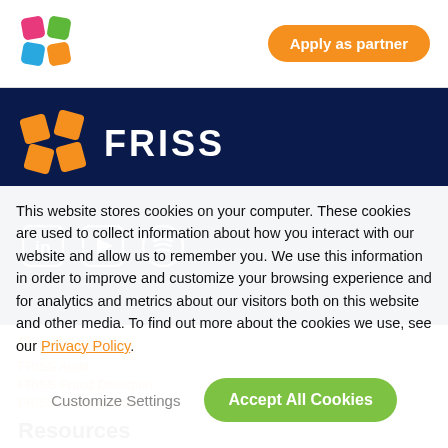[Figure (logo): Colorful geometric logo (pink, green, blue, orange shapes) in top navigation bar]
Apply as partner
[Figure (logo): FRISS logo with orange geometric icon and white FRISS text on dark blue background]
[Figure (infographic): LinkedIn, YouTube, and Spotify social media icons (white on dark blue background)]
This website stores cookies on your computer. These cookies are used to collect information about how you interact with our website and allow us to remember you. We use this information in order to improve and customize your browsing experience and for analytics and metrics about our visitors both on this website and other media. To find out more about the cookies we use, see our Privacy Policy.
Products
FRISS Fraud Detection
FRISS Investigations
Resources
Customize Settings
Accept All Cookies